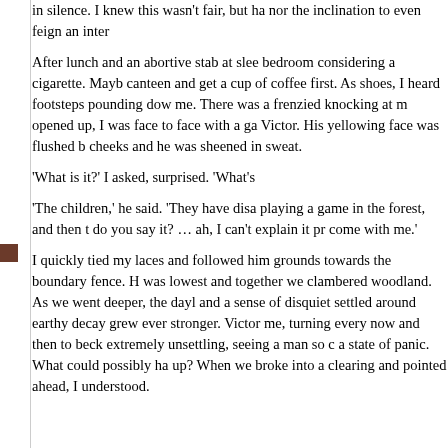in silence. I knew this wasn't fair, but ha nor the inclination to even feign an inter
After lunch and an abortive stab at slee bedroom considering a cigarette. Mayb canteen and get a cup of coffee first. As shoes, I heard footsteps pounding dow me. There was a frenzied knocking at m opened up, I was face to face with a ga Victor. His yellowing face was flushed b cheeks and he was sheened in sweat.
'What is it?' I asked, surprised. 'What's
'The children,' he said. 'They have disa playing a game in the forest, and then t do you say it? … ah, I can't explain it pr come with me.'
I quickly tied my laces and followed him grounds towards the boundary fence. H was lowest and together we clambered woodland. As we went deeper, the dayl and a sense of disquiet settled around earthy decay grew ever stronger. Victor me, turning every now and then to beck extremely unsettling, seeing a man so c a state of panic. What could possibly ha up? When we broke into a clearing and pointed ahead, I understood.